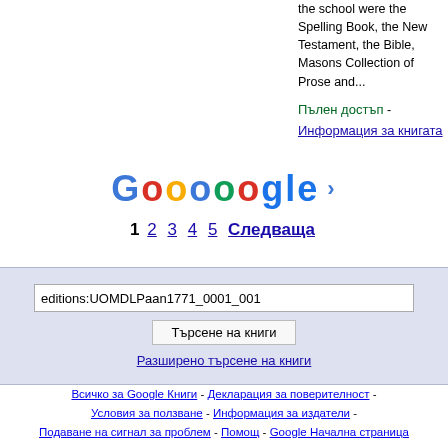the school were the Spelling Book, the New Testament, the Bible, Masons Collection of Prose and...
Пълен достъп - Информация за книгата
[Figure (other): Google Books pagination: Goooooogle logo with right arrow, page numbers 1 2 3 4 5 and Следваща link]
editions:UOMDLPaan1771_0001_001
Търсене на книги
Разширено търсене на книги
Всичко за Google Книги - Декларация за поверителност - Условия за ползване - Информация за издатели - Подаване на сигнал за проблем - Помощ - Google Начална страница